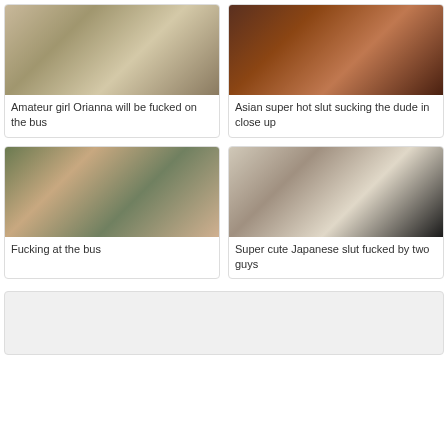[Figure (photo): Thumbnail image 1 - person in car]
Amateur girl Orianna will be fucked on the bus
[Figure (photo): Thumbnail image 2 - person with red hair]
Asian super hot slut sucking the dude in close up
[Figure (photo): Thumbnail image 3 - close up scene]
Fucking at the bus
[Figure (photo): Thumbnail image 4 - person lying down]
Super cute Japanese slut fucked by two guys
[Figure (photo): Wide placeholder card - gray background]